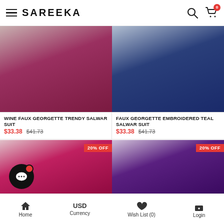SAREEKA
[Figure (photo): Wine faux georgette salwar suit product photo, cropped upper body]
WINE FAUX GEORGETTE TRENDY SALWAR SUIT
$33.38  $41.73
[Figure (photo): Faux georgette embroidered teal salwar suit product photo, cropped upper body]
FAUX GEORGETTE EMBROIDERED TEAL SALWAR SUIT
$33.38  $41.73
[Figure (photo): Red/pink embroidered salwar suit product photo, 20% OFF badge]
[Figure (photo): Purple embroidered salwar suit product photo, 20% OFF badge]
Home  USD Currency  Wish List (0)  Login